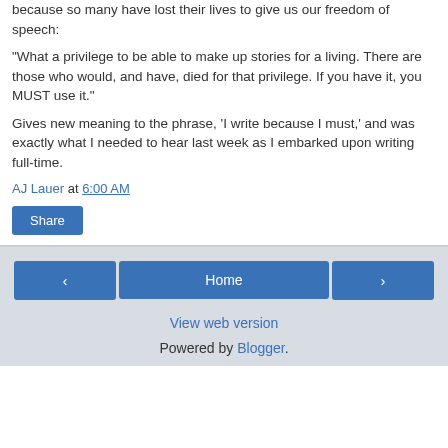because so many have lost their lives to give us our freedom of speech:
"What a privilege to be able to make up stories for a living. There are those who would, and have, died for that privilege. If you have it, you MUST use it."
Gives new meaning to the phrase, 'I write because I must,' and was exactly what I needed to hear last week as I embarked upon writing full-time.
AJ Lauer at 6:00 AM
Share
< Home > View web version Powered by Blogger.